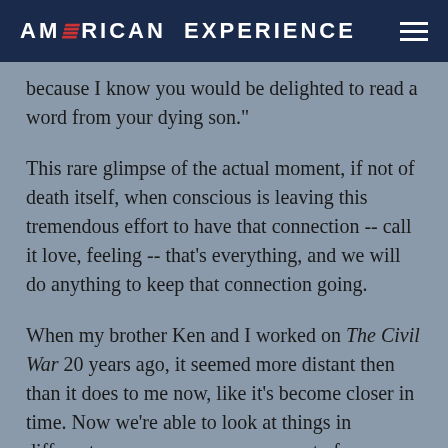AMERICAN EXPERIENCE
because I know you would be delighted to read a word from your dying son."
This rare glimpse of the actual moment, if not of death itself, when conscious is leaving this tremendous effort to have that connection -- call it love, feeling -- that's everything, and we will do anything to keep that connection going.
When my brother Ken and I worked on The Civil War 20 years ago, it seemed more distant then than it does to me now, like it's become closer in time. Now we're able to look at things in different ways, an enormous amount of